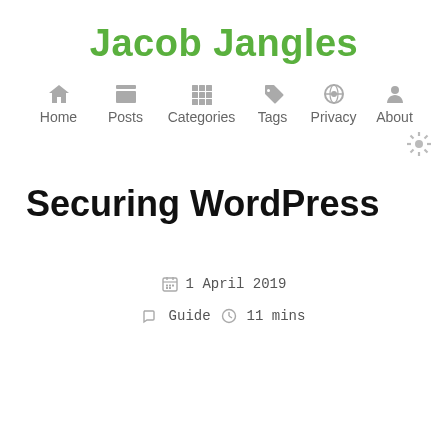Jacob Jangles
Home  Posts  Categories  Tags  Privacy  About
Securing WordPress
1 April 2019
Guide  11 mins